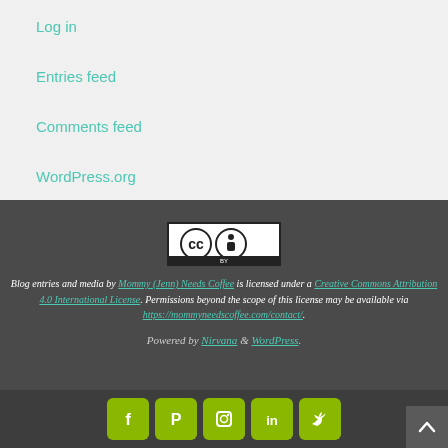Log in
Entries feed
Comments feed
WordPress.org
[Figure (logo): Creative Commons BY license badge]
Blog entries and media by Mommy (Jenn) Needs Coffee is licensed under a Creative Commons Attribution 4.0 International License. Permissions beyond the scope of this license may be available via https://mommyneedscoffee.com/contact/.
Powered by Nirvana & WordPress.
[Figure (infographic): Social media icons: Facebook, Pinterest, Instagram, LinkedIn, Twitter on yellow-green rounded square buttons]